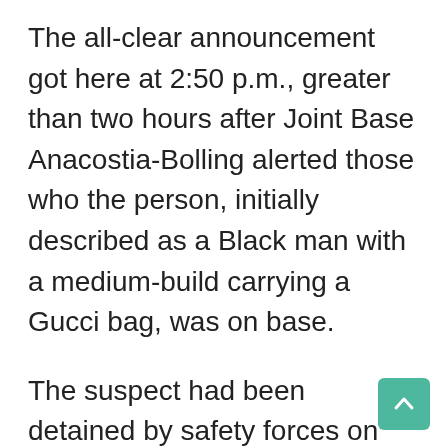The all-clear announcement got here at 2:50 p.m., greater than two hours after Joint Base Anacostia-Bolling alerted those who the person, initially described as a Black man with a medium-build carrying a Gucci bag, was on base.
The suspect had been detained by safety forces on the base and could be transferred to the Metropolitan Police Division, whose officers had been on the scene, a spokesman for the bottom advised CNBC. The spokesman declined to say if the individual surrendered willingly or if he was armed on the time he was detained.